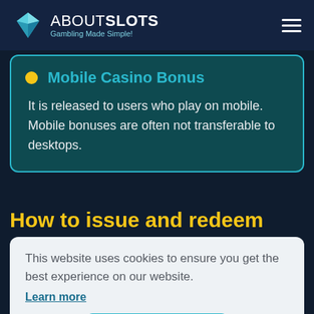ABOUTSLOTS Gambling Made Simple!
Mobile Casino Bonus — It is released to users who play on mobile. Mobile bonuses are often not transferable to desktops.
How to issue and redeem
This website uses cookies to ensure you get the best experience on our website. Learn more
Got it!